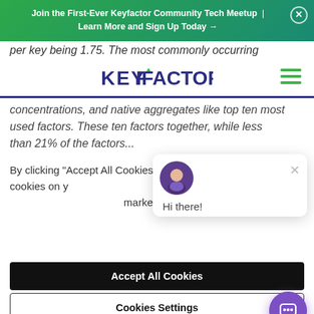Join the First-Ever Keyfactor Community Tech Meetup | Learn More and Sign Up Today →
per key being 1.75. The most commonly occurring
[Figure (logo): Keyfactor logo and hamburger menu navigation bar]
concentrations, and native aggregates like top ten most used factors. These ten factors together, while less than 21% of the factors...
By clicking "Accept All Cookies", you agree to the storing of cookies on your device to enhance site navigation, analyze site usage, and assist in our marketing efforts.  Privacy
[Figure (screenshot): Chat popup with avatar and Hi there! greeting message]
Accept All Cookies
Cookies Settings